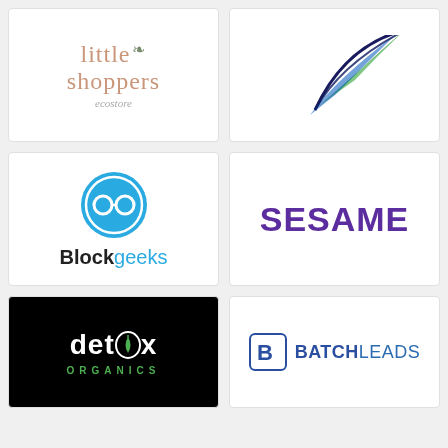[Figure (logo): Little Shoppers ecostore logo - stylized text in dusty rose/terracotta color with small olive leaf accent]
[Figure (logo): Feather logo with dark navy, green, and blue feather illustration, partially cropped at top]
[Figure (logo): Blockgeeks logo - circular blue icon with glasses symbol above the text Blockgeeks in black and blue]
[Figure (logo): SESAME logo - bold purple uppercase text]
[Figure (logo): Detox Organics logo - white text on black background with green leaf replacing the O in detox, ORGANICS in green below]
[Figure (logo): BatchLeads logo - blue B icon with BatchLeads text in dark navy and blue]